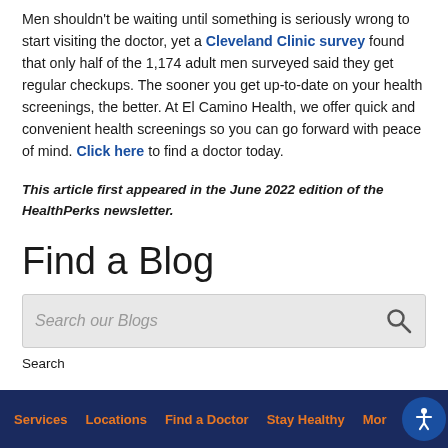Men shouldn't be waiting until something is seriously wrong to start visiting the doctor, yet a Cleveland Clinic survey found that only half of the 1,174 adult men surveyed said they get regular checkups. The sooner you get up-to-date on your health screenings, the better. At El Camino Health, we offer quick and convenient health screenings so you can go forward with peace of mind. Click here to find a doctor today.
This article first appeared in the June 2022 edition of the HealthPerks newsletter.
Find a Blog
Search our Blogs
Search
Services   Locations   Find a Doctor   Stay Healthy   More